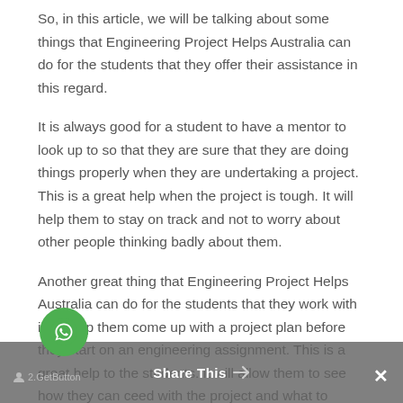So, in this article, we will be talking about some things that Engineering Project Helps Australia can do for the students that they offer their assistance in this regard.
It is always good for a student to have a mentor to look up to so that they are sure that they are doing things properly when they are undertaking a project. This is a great help when the project is tough. It will help them to stay on track and not to worry about other people thinking badly about them.
Another great thing that Engineering Project Helps Australia can do for the students that they work with is to help them come up with a project plan before they start on an engineering assignment. This is a great help to the students. It will allow them to see how they can ceed with the project and what to expect from it.
When a student is assigned an assignment, it is important to have an idea of what the project will be
Share This